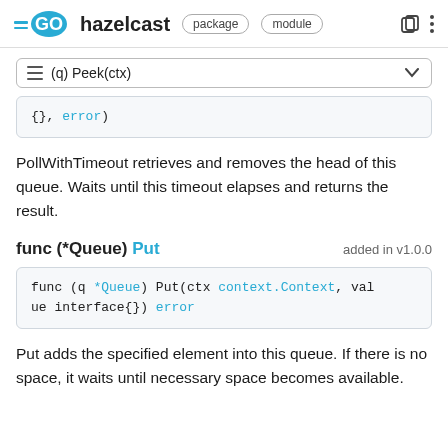GO hazelcast package module
≡ (q) Peek(ctx)
{}, error)
PollWithTimeout retrieves and removes the head of this queue. Waits until this timeout elapses and returns the result.
func (*Queue) Put   added in v1.0.0
func (q *Queue) Put(ctx context.Context, value interface{}) error
Put adds the specified element into this queue. If there is no space, it waits until necessary space becomes available.